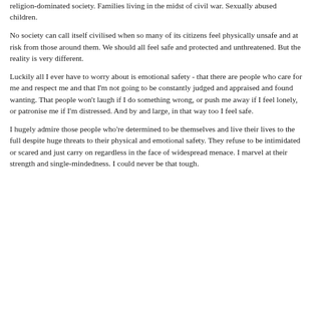religion-dominated society. Families living in the midst of civil war. Sexually abused children.
No society can call itself civilised when so many of its citizens feel physically unsafe and at risk from those around them. We should all feel safe and protected and unthreatened. But the reality is very different.
Luckily all I ever have to worry about is emotional safety - that there are people who care for me and respect me and that I'm not going to be constantly judged and appraised and found wanting. That people won't laugh if I do something wrong, or push me away if I feel lonely, or patronise me if I'm distressed. And by and large, in that way too I feel safe.
I hugely admire those people who're determined to be themselves and live their lives to the full despite huge threats to their physical and emotional safety. They refuse to be intimidated or scared and just carry on regardless in the face of widespread menace. I marvel at their strength and single-mindedness. I could never be that tough.